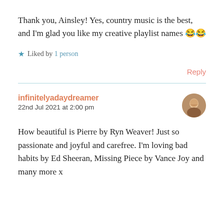Thank you, Ainsley! Yes, country music is the best, and I'm glad you like my creative playlist names 😂😂
★ Liked by 1 person
Reply
infinitelyadaydreamer
22nd Jul 2021 at 2:00 pm
How beautiful is Pierre by Ryn Weaver! Just so passionate and joyful and carefree. I'm loving bad habits by Ed Sheeran, Missing Piece by Vance Joy and many more x